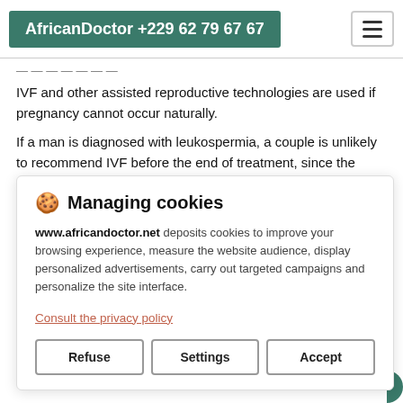AfricanDoctor +229 62 79 67 67
IVF and other assisted reproductive technologies are used if pregnancy cannot occur naturally.
If a man is diagnosed with leukospermia, a couple is unlikely to recommend IVF before the end of treatment, since the problem
Managing cookies
www.africandoctor.net deposits cookies to improve your browsing experience, measure the website audience, display personalized advertisements, carry out targeted campaigns and personalize the site interface.
Consult the privacy policy